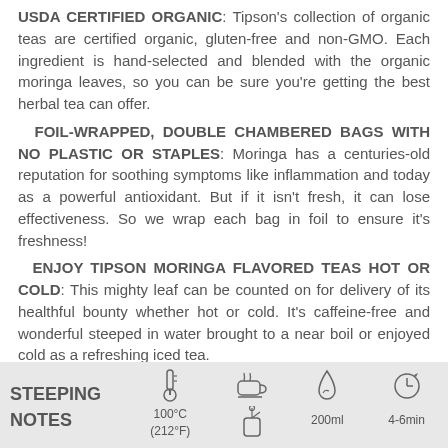USDA CERTIFIED ORGANIC: Tipson's collection of organic teas are certified organic, gluten-free and non-GMO. Each ingredient is hand-selected and blended with the organic moringa leaves, so you can be sure you're getting the best herbal tea can offer.
FOIL-WRAPPED, DOUBLE CHAMBERED BAGS WITH NO PLASTIC OR STAPLES: Moringa has a centuries-old reputation for soothing symptoms like inflammation and today as a powerful antioxidant. But if it isn't fresh, it can lose effectiveness. So we wrap each bag in foil to ensure it's freshness!
ENJOY TIPSON MORINGA FLAVORED TEAS HOT OR COLD: This mighty leaf can be counted on for delivery of its healthful bounty whether hot or cold. It's caffeine-free and wonderful steeped in water brought to a near boil or enjoyed cold as a refreshing iced tea.
| STEEPING NOTES | Temperature Icon | Tea Bag Icon | Water Icon | Time Icon |
| --- | --- | --- | --- | --- |
|  | 100°C (212°F) |  | 200ml | 4-6min |